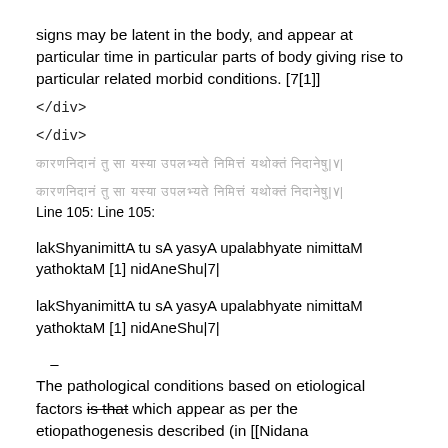signs may be latent in the body, and appear at particular time in particular parts of body giving rise to particular related morbid conditions. [7[1]]
</div>
</div>
[Devanagari script line 1]
[Devanagari script line 2]
Line 105: Line 105:
lakShyanimittA tu sA yasyA upalabhyate nimittaM yathoktaM [1] nidAneShu|7|
lakShyanimittA tu sA yasyA upalabhyate nimittaM yathoktaM [1] nidAneShu|7|
–
The pathological conditions based on etiological factors is that which appear as per the etiopathogenesis described (in [[NidanaSthanapractice). [7[2]]